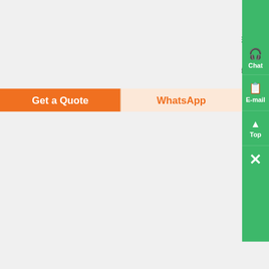More information
[Figure (photo): Industrial metal storage racking/shelving system in a warehouse or factory setting, with yellow overhead crane visible]
DD2010-79: Determination of the Safety of Syngenta Seeds ,
This Decision Document has been prepared to explain the regulatory decision reached under Directive 94-08 (Dir94-08), entitled Assessment Criteria for Determining Environmental Safety of Plants with Novel Traits, its companion biology document BIO1994-11, The Biology of Zea mays L (Corn/Maize), and Chapter 26 of the Regulatory Guidance: Feed Registration Procedures and Labelling Standards ....
Get a Quote
WhatsApp